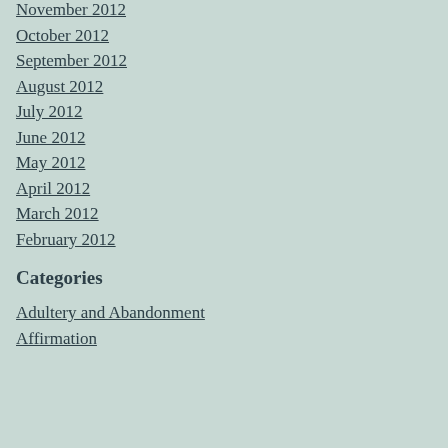November 2012
October 2012
September 2012
August 2012
July 2012
June 2012
May 2012
April 2012
March 2012
February 2012
Categories
Adultery and Abandonment
Affirmation